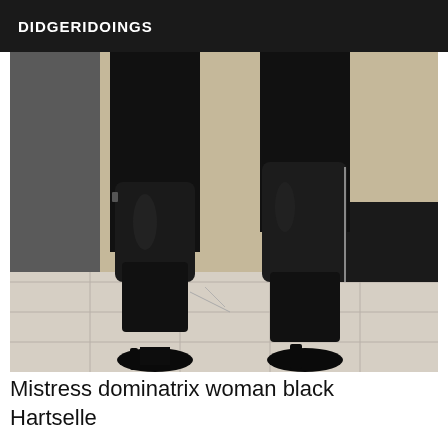DIDGERIDOINGS
[Figure (photo): Close-up photo of a person wearing black leather pants and black thigh-high platform stiletto boots with zipper detail, standing on a tiled floor indoors.]
Mistress dominatrix woman black Hartselle